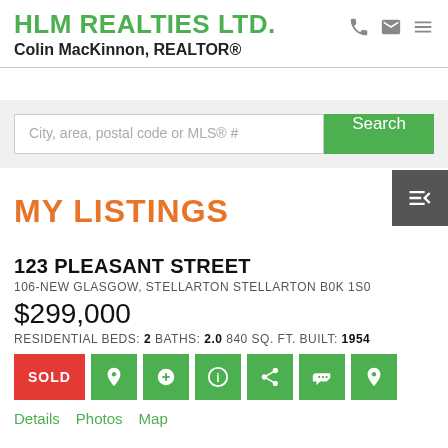HLM REALTIES LTD. Colin MacKinnon, REALTOR®
City, area, postal code or MLS® #
MY LISTINGS
123 PLEASANT STREET
106-NEW GLASGOW, STELLARTON STELLARTON B0K 1S0
$299,000
RESIDENTIAL BEDS: 2 BATHS: 2.0 840 SQ. FT. BUILT: 1954
SOLD
Details  Photos  Map